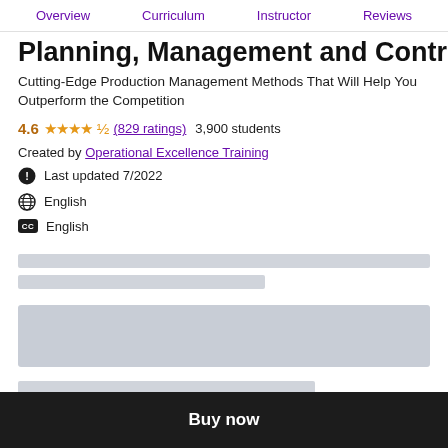Overview  Curriculum  Instructor  Reviews
Planning, Management and Control
Cutting-Edge Production Management Methods That Will Help You Outperform the Competition
4.6 ★★★★½ (829 ratings)  3,900 students
Created by Operational Excellence Training
Last updated 7/2022
English
English
[Figure (other): Placeholder loading bars (two gray bars)]
[Figure (other): Placeholder loading block (tall gray rectangle)]
[Figure (other): Partial gray bar at bottom]
Buy now